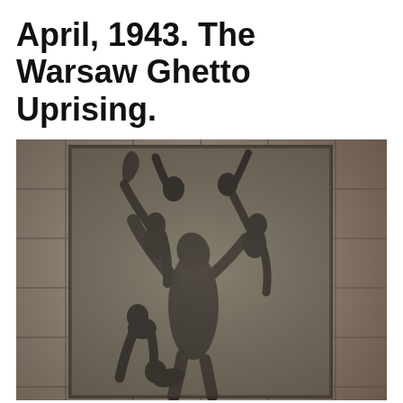April, 1943. The Warsaw Ghetto Uprising.
[Figure (photo): Black and white photograph of the Warsaw Ghetto Uprising monument — a large bronze relief sculpture mounted on a granite wall, depicting heroic figures of Jewish fighters in dynamic poses, raising arms, looking upward, in dramatic struggle. The monument is by Nathan Rapoport, located in Warsaw, Poland.]